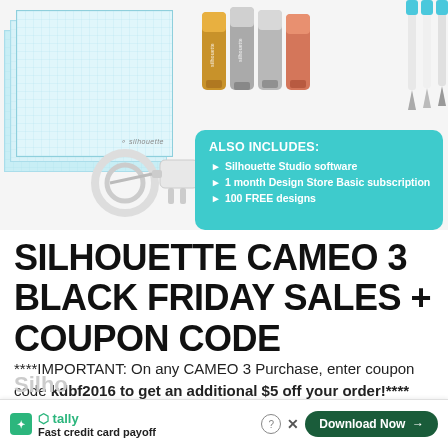[Figure (photo): Silhouette Cameo 3 product bundle showing cutting mats, metallic pens, blades/tools, power cord, and a teal info box listing included accessories: Silhouette Studio software, 1 month Design Store Basic subscription, 100 FREE designs.]
SILHOUETTE CAMEO 3 BLACK FRIDAY SALES + COUPON CODE
****IMPORTANT: On any CAMEO 3 Purchase, enter coupon code kdbf2016 to get an additional $5 off your order!****
[Figure (screenshot): Tally app advertisement banner: teal Tally icon, 'Fast credit card payoff' text, and a dark green 'Download Now →' button with a help (?) icon and close X button.]
Silho